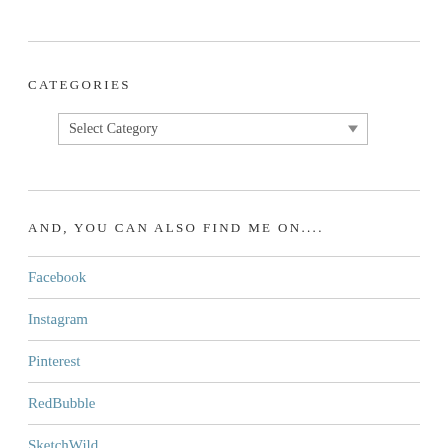CATEGORIES
AND, YOU CAN ALSO FIND ME ON....
Facebook
Instagram
Pinterest
RedBubble
SketchWild